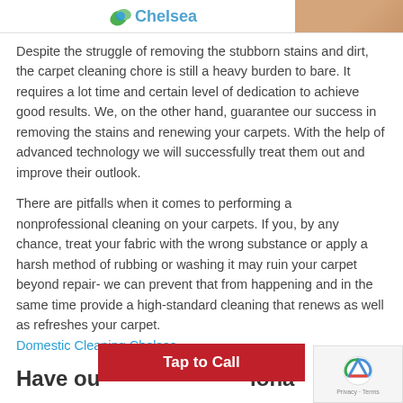[Figure (logo): Logo with leaf icon and text 'Chelsea' in blue, alongside a skin-tone colored image on the right]
Despite the struggle of removing the stubborn stains and dirt, the carpet cleaning chore is still a heavy burden to bare. It requires a lot time and certain level of dedication to achieve good results. We, on the other hand, guarantee our success in removing the stains and renewing your carpets. With the help of advanced technology we will successfully treat them out and improve their outlook.
There are pitfalls when it comes to performing a nonprofessional cleaning on your carpets. If you, by any chance, treat your fabric with the wrong substance or apply a harsh method of rubbing or washing it may ruin your carpet beyond repair- we can prevent that from happening and in the same time provide a high-standard cleaning that renews as well as refreshes your carpet.
Domestic Cleaning Chelsea
Have ou                         iona
[Figure (other): Red 'Tap to Call' button overlay]
[Figure (other): reCAPTCHA widget in bottom right corner with logo and Privacy-Terms text]